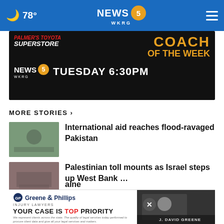🌙 78° NEWS 5 WKRG
[Figure (advertisement): Palmer's Toyota Superstore Coach of the Week advertisement — NEWS 5 WKRG — TUESDAY 6:30PM]
MORE STORIES ›
International aid reaches flood-ravaged Pakistan
Palestinian toll mounts as Israel steps up West Bank …
Diana's last moments: French medic recalls 'tragic …
nuclear plant
[Figure (advertisement): Greene & Phillips Injury Lawyers — Your Case is Top Priority — J. David Greene advertisement]